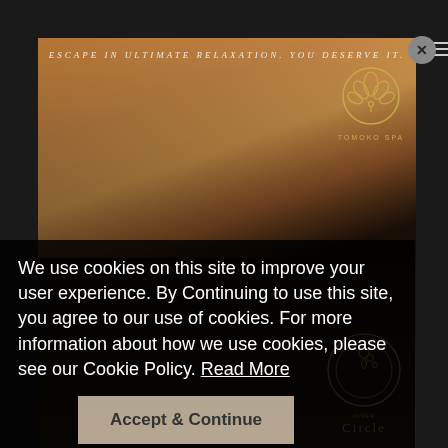[Figure (photo): Tomoko Spa advertisement showing a woman receiving a back massage, with lotus flower logo and text 'ESCAPE IN ULTIMATE RELAXATION. YOU DESERVE IT.' and 'REMARKABLE PRIVILEGES AWAIT YOU' with Inner Circle logo]
We use cookies on this site to improve your user experience. By Continuing to use this site, you agree to our use of cookies. For more information about how we use cookies, please see our Cookie Policy. Read More
Accept & Continue